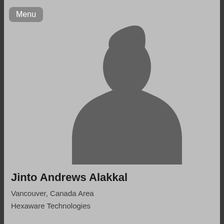Menu
[Figure (photo): Default grey silhouette placeholder profile photo showing a person's head and shoulders outline against a grey background]
Jinto Andrews Alakkal
Vancouver, Canada Area
Hexaware Technologies